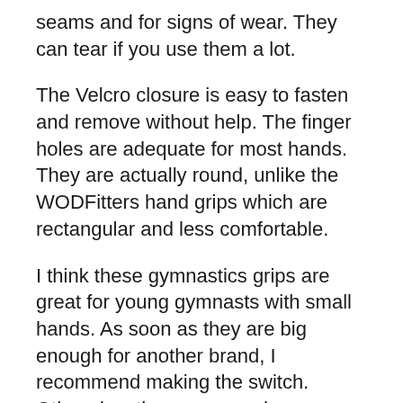seams and for signs of wear. They can tear if you use them a lot.
The Velcro closure is easy to fasten and remove without help. The finger holes are adequate for most hands. They are actually round, unlike the WODFitters hand grips which are rectangular and less comfortable.
I think these gymnastics grips are great for young gymnasts with small hands. As soon as they are big enough for another brand, I recommend making the switch. Otherwise, these are good gymnastics grips if your gymnasts are very young.